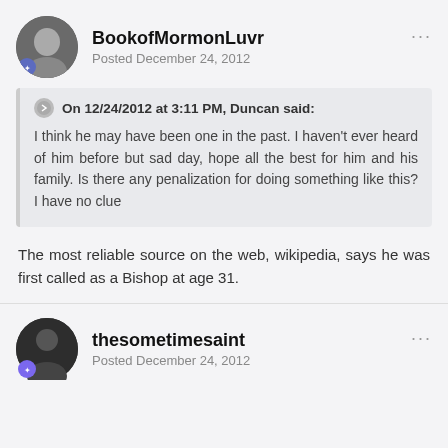BookofMormonLuvr
Posted December 24, 2012
On 12/24/2012 at 3:11 PM, Duncan said:
I think he may have been one in the past. I haven't ever heard of him before but sad day, hope all the best for him and his family. Is there any penalization for doing something like this? I have no clue
The most reliable source on the web, wikipedia, says he was first called as a Bishop at age 31.
thesometimesaint
Posted December 24, 2012